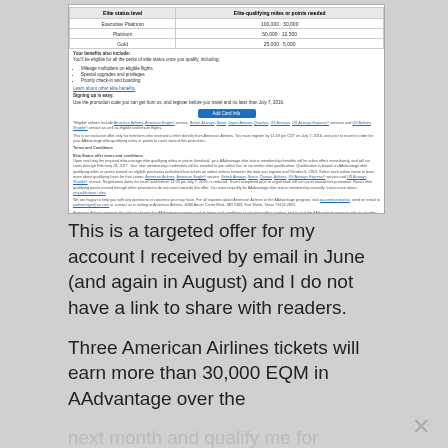[Figure (screenshot): Screenshot of an American Airlines AAdvantage promotional email showing elite status levels table and terms, with a blue 'Add Card Info' button]
This is a targeted offer for my account I received by email in June (and again in August) and I do not have a link to share with readers.
Three American Airlines tickets will earn more than 30,000 EQM in AAdvantage over the next month and qualify me for Executive Platinum status through February 2017. This